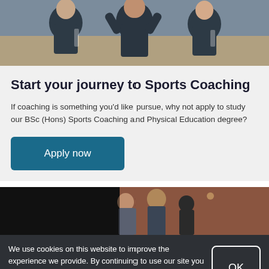[Figure (photo): Three people in dark sports polo shirts, appearing to be coaches or sports staff, clapping or gesturing.]
Start your journey to Sports Coaching
If coaching is something you’d like pursue, why not apply to study our BSc (Hons) Sports Coaching and Physical Education degree?
Apply now
[Figure (photo): Group of students talking outdoors near a brick building at dusk or evening.]
We use cookies on this website to improve the experience we provide. By continuing to use our site you agree to this, or visit our cookie policy to manage your settings.